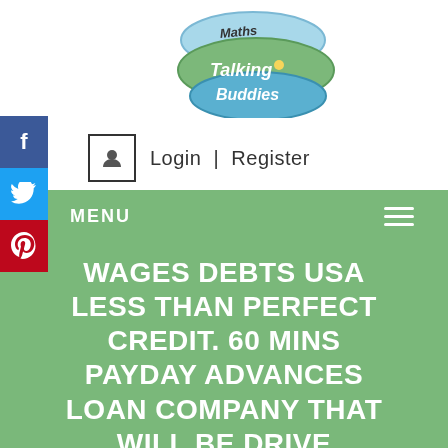[Figure (logo): Maths Talking Buddies logo with speech bubble shapes in blue and green, handwritten text]
Login | Register
MENU
WAGES DEBTS USA LESS THAN PERFECT CREDIT. 60 MINS PAYDAY ADVANCES LOAN COMPANY THAT WILL BE DRIVE
HOME / TRUSTED INSTALLMENT LOANS REVIEW / WAGES DEBTS USA LESS THAN PERFECT CREDIT. 60 MINS PAYDAY